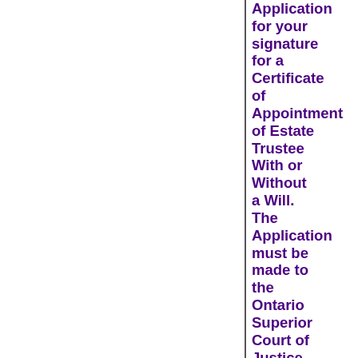Application for your signature for a Certificate of Appointment of Estate Trustee With or Without a Will. The Application must be made to the Ontario Superior Court of Justice